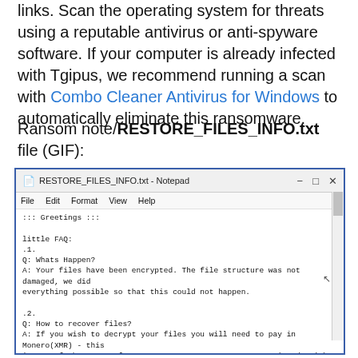links. Scan the operating system for threats using a reputable antivirus or anti-spyware software. If your computer is already infected with Tgipus, we recommend running a scan with Combo Cleaner Antivirus for Windows to automatically eliminate this ransomware.
Ransom note/RESTORE_FILES_INFO.txt file (GIF):
[Figure (screenshot): A Notepad window showing RESTORE_FILES_INFO.txt ransom note. The note contains: ::: Greetings ::: | little FAQ: | .1. | Q: Whats Happen? | A: Your files have been encrypted. The file structure was not damaged, we did everything possible so that this could not happen. | .2. | Q: How to recover files? | A: If you wish to decrypt your files you will need to pay in Monero(XMR) - this is one of the types of cryptocurrency, you can get acquainted with it in more detail here: https://www.getmonero.org/ | .3. | Q: What about guarantees? | A: Its just a business. We absolutely do not care about you and your deals, except getting benefits. If we do not do our work and liabilities - nobody will cooperate with us. Its not in our interests. To check the ability of returning files, you can send to us any 2 files with S... extensions(jpe,xls,doc, etc... not databases!) and low sizes(max 1 mb), w...l decrypt them and send back to you. That is our guarantee.]